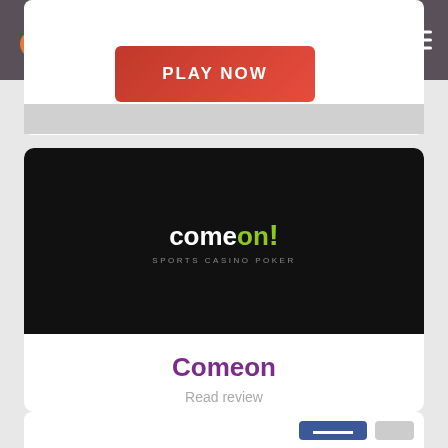CASINO BUDDY
experience
PLAY NOW
[Figure (logo): ComeOn! Sports Casino Poker logo on black background]
Comeon
Read review